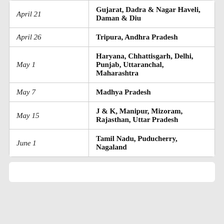| Date | States/UTs |
| --- | --- |
| April 21 | Gujarat, Dadra & Nagar Haveli, Daman & Diu |
| April 26 | Tripura, Andhra Pradesh |
| May 1 | Haryana, Chhattisgarh, Delhi, Punjab, Uttaranchal, Maharashtra |
| May 7 | Madhya Pradesh |
| May 15 | J & K, Manipur, Mizoram, Rajasthan, Uttar Pradesh |
| June 1 | Tamil Nadu, Puducherry, Nagaland |